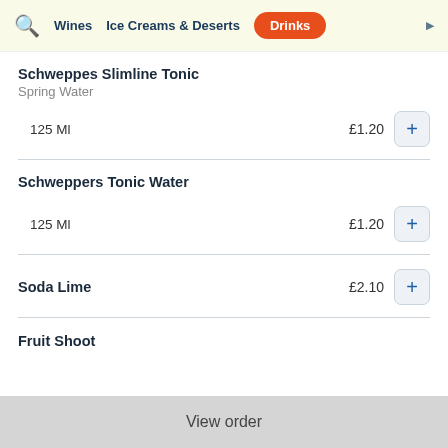Wines | Ice Creams & Deserts | Drinks
Schweppes Slimline Tonic
Spring Water
125 Ml  £1.20
Schweppers Tonic Water
125 Ml  £1.20
Soda Lime  £2.10
Fruit Shoot
View order